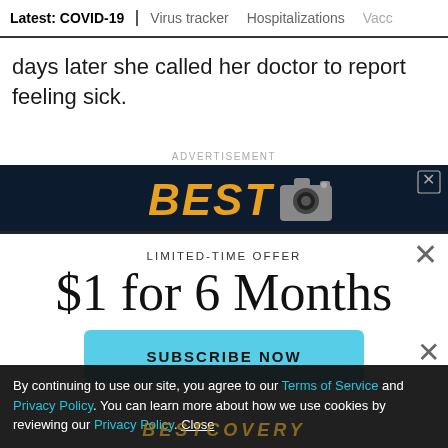Latest: COVID-19 | Virus tracker | Hospitalizations | Vacc
days later she called her doctor to report feeling sick.
ADVERTISEMENT
[Figure (illustration): Advertisement banner with dark blue background showing bold italic orange text 'BEST' and a camera icon, with a close X button]
LIMITED-TIME OFFER
$1 for 6 Months
SUBSCRIBE NOW
By continuing to use our site, you agree to our Terms of Service and Privacy Policy. You can learn more about how we use cookies by reviewing our Privacy Policy. Close